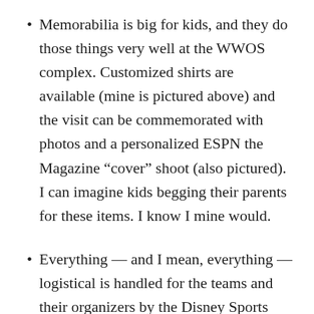Memorabilia is big for kids, and they do those things very well at the WWOS complex. Customized shirts are available (mine is pictured above) and the visit can be commemorated with photos and a personalized ESPN the Magazine “cover” shoot (also pictured). I can imagine kids begging their parents for these items. I know I mine would.
Everything — and I mean, everything — logistical is handled for the teams and their organizers by the Disney Sports Solutions team. No matter what you need help with (the daily itinerary, fundraising for travel, safety and health issues, finding the right...